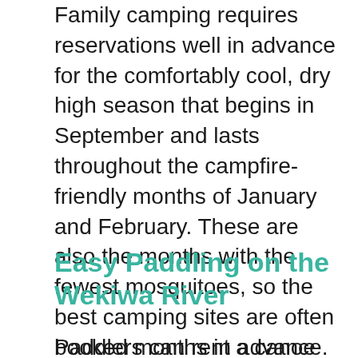Family camping requires reservations well in advance for the comfortably cool, dry high season that begins in September and lasts throughout the campfire-friendly months of January and February. These are also the months with the fewest mosquitoes, so the best camping sites are often booked months in advance. Most family campers are from the local Central Florida area, and they come to this beautiful state park with their mountain bikes, hiking boots, kayaks, and tents to enjoy a hidden treasure that is so close to the theme park destinations.
Easy Paddling on the Wekiwa River
Paddlers can rent a canoe ($15 for two